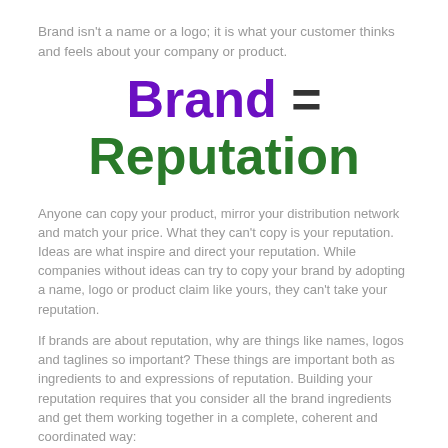Brand isn't a name or a logo; it is what your customer thinks and feels about your company or product.
Brand = Reputation
Anyone can copy your product, mirror your distribution network and match your price. What they can't copy is your reputation. Ideas are what inspire and direct your reputation. While companies without ideas can try to copy your brand by adopting a name, logo or product claim like yours, they can't take your reputation.
If brands are about reputation, why are things like names, logos and taglines so important? These things are important both as ingredients to and expressions of reputation. Building your reputation requires that you consider all the brand ingredients and get them working together in a complete, coherent and coordinated way:
Story: For people to believe in your reputation, to care about it and be motivated by it, they must first connect to it. Throughout the ages, stories have been the cornerstone of communication, teaching and